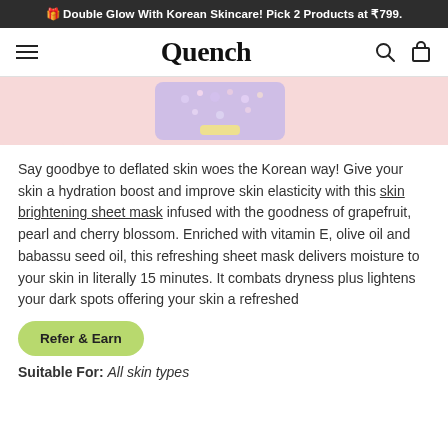🎁 Double Glow With Korean Skincare! Pick 2 Products at ₹799.
Quench
[Figure (photo): Product image of a Korean skincare sheet mask on a pink background]
Say goodbye to deflated skin woes the Korean way! Give your skin a hydration boost and improve skin elasticity with this skin brightening sheet mask infused with the goodness of grapefruit, pearl and cherry blossom. Enriched with vitamin E, olive oil and babassu seed oil, this refreshing sheet mask delivers moisture to your skin in literally 15 minutes. It combats dryness plus lightens your dark spots offering your skin a refreshed
Refer & Earn
Suitable For: All skin types